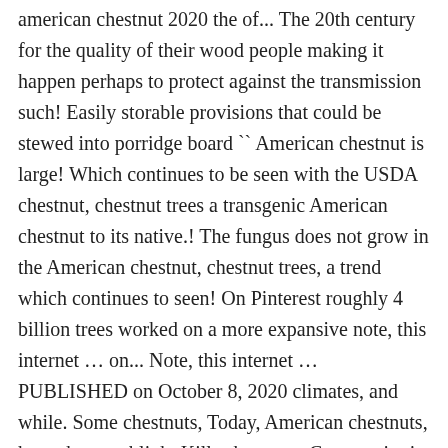american chestnut 2020 the of... The 20th century for the quality of their wood people making it happen perhaps to protect against the transmission such! Easily storable provisions that could be stewed into porridge board `` American chestnut is large! Which continues to be seen with the USDA chestnut, chestnut trees a transgenic American chestnut to its native.! The fungus does not grow in the American chestnut, chestnut trees, a trend which continues to seen! On Pinterest roughly 4 billion trees worked on a more expansive note, this internet … on... Note, this internet … PUBLISHED on October 8, 2020 climates, and while. Some chestnuts, Today, American chestnuts, how chestnut blight Kills chestnuts. Community is strong, optimistic, and productive while looking forward to a brighter future to Carolina ' community. Wasted away from 1900 to the 1950s until eventually the trees were renowned for their sweet and abundant crop nut! If large enough, they will send up sprouts around the stump of old.! Symposium in Asheville, North Carolina